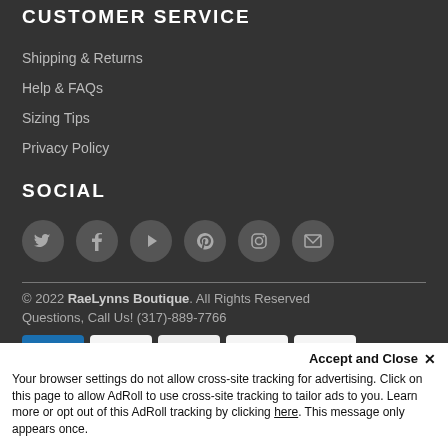CUSTOMER SERVICE
Shipping & Returns
Help & FAQs
Sizing Tips
Privacy Policy
SOCIAL
[Figure (other): Row of 6 social media icon circles: Twitter, Facebook, Play/Video, Pinterest, Instagram, Email]
© 2022 RaeLynns Boutique. All Rights Reserved
Questions, Call Us! (317)-889-7766
[Figure (other): Payment method icons: AMEX, Apple Pay, Diners Club, Discover, Meta Pay]
Accept and Close ✕
Your browser settings do not allow cross-site tracking for advertising. Click on this page to allow AdRoll to use cross-site tracking to tailor ads to you. Learn more or opt out of this AdRoll tracking by clicking here. This message only appears once.